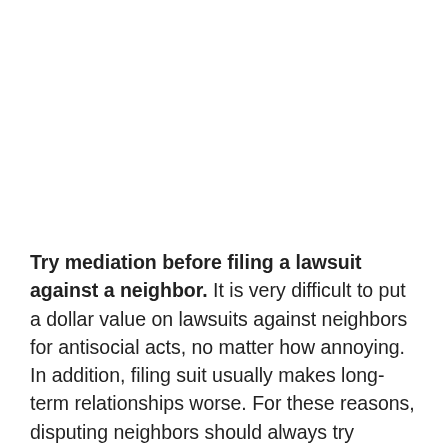Try mediation before filing a lawsuit against a neighbor. It is very difficult to put a dollar value on lawsuits against neighbors for antisocial acts, no matter how annoying. In addition, filing suit usually makes long-term relationships worse. For these reasons, disputing neighbors should always try mediation before turning to small claims court.